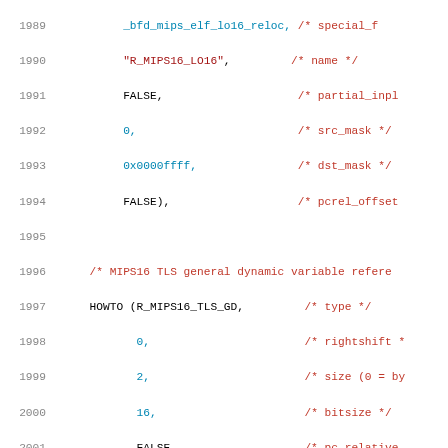Source code listing lines 1989-2009, MIPS16 ELF relocation HOWTO entries